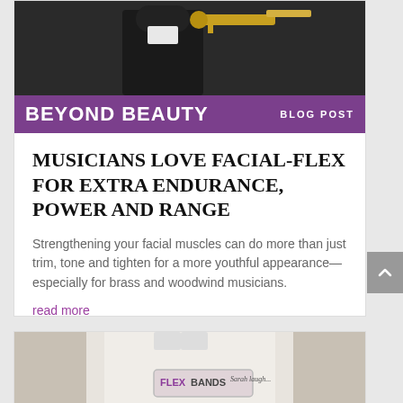[Figure (photo): Musician in black suit playing a brass trumpet, dark background]
BEYOND BEAUTY   BLOG POST
MUSICIANS LOVE FACIAL-FLEX FOR EXTRA ENDURANCE, POWER AND RANGE
Strengthening your facial muscles can do more than just trim, tone and tighten for a more youthful appearance—especially for brass and woodwind musicians.
read more
[Figure (photo): Person in white lab coat wearing a Flex Bands badge/name tag]